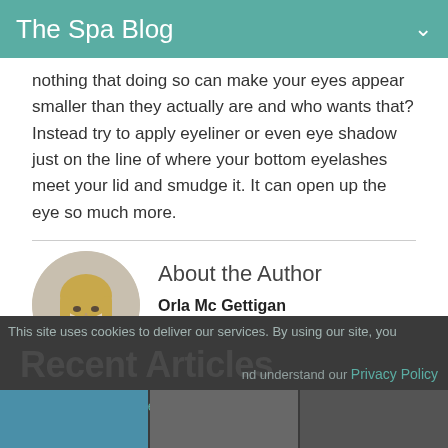The Spa Blog
nothing that doing so can make your eyes appear smaller than they actually are and who wants that? Instead try to apply eyeliner or even eye shadow just on the line of where your bottom eyelashes meet your lid and smudge it. It can open up the eye so much more.
About the Author
[Figure (photo): Circular portrait photo of Orla Mc Gettigan, a woman with long blonde hair wearing a white turtleneck]
Orla Mc Gettigan
View all posts by Orla
Recent Articles
This site uses cookies to deliver our services. By using our site, you accept and understand our
Privacy Policy
Terms of Service